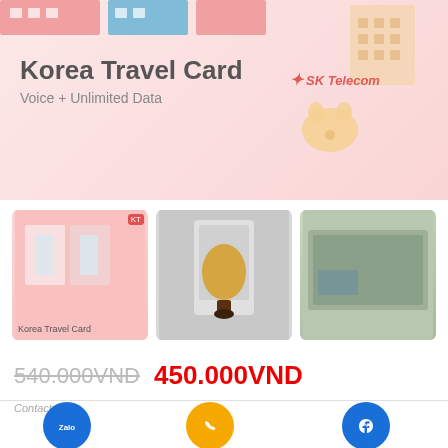[Figure (screenshot): Korea Travel Card promotional banner with pink background, SK Telecom logo, and illustrated cat/SIM card graphics]
Korea Travel Card
Voice + Unlimited Data
[Figure (screenshot): Three product thumbnail images in a row: Korea Travel Card thumbnail, a vending machine with golden cup illustration, and a food/snack package]
540.000VND  450.000VND
[Figure (infographic): Contact bar with three options: Chat Zalo (blue circle with Zalo logo), Gọi trực tiếp (yellow circle with phone icon), Chat Facebook (blue circle with messenger icon)]
Chat Zalo
Gọi trực tiếp
Chat Facebook